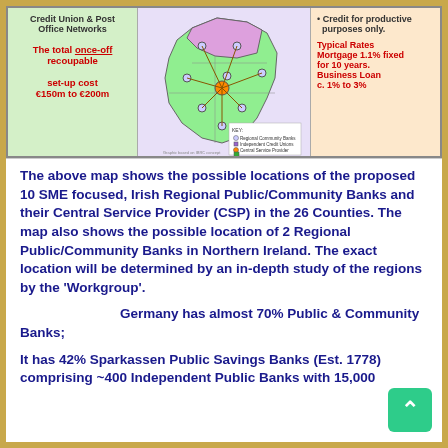[Figure (infographic): Infographic showing proposed Irish Regional Community Banks network with a map of Ireland, left panel showing Credit Union & Post Office Networks with set-up cost €150m to €200m, right panel showing credit for productive purposes only with typical rates: Mortgage 1.1% fixed for 10 years, Business Loan c. 1% to 3%]
The Public Banking Forum of Ireland
The above map shows the possible locations of the proposed 10 SME focused, Irish Regional Public/Community Banks and their Central Service Provider (CSP) in the 26 Counties. The map also shows the possible location of 2 Regional Public/Community Banks in Northern Ireland. The exact location will be determined by an in-depth study of the regions by the 'Workgroup'.
Germany has almost 70% Public & Community Banks;
It has 42% Sparkassen Public Savings Banks (Est. 1778) comprising ~400 Independent Public Banks with 15,000